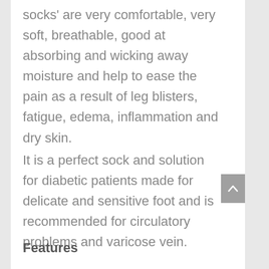socks' are very comfortable, very soft, breathable, good at absorbing and wicking away moisture and help to ease the pain as a result of leg blisters, fatigue, edema, inflammation and dry skin.
It is a perfect sock and solution for diabetic patients made for delicate and sensitive foot and is recommended for circulatory problems and varicose vein.
Features